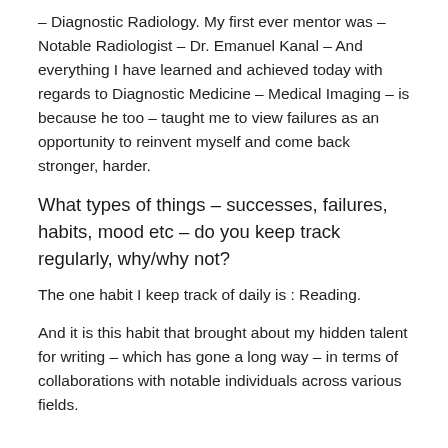– Diagnostic Radiology. My first ever mentor was – Notable Radiologist – Dr. Emanuel Kanal – And everything I have learned and achieved today with regards to Diagnostic Medicine – Medical Imaging – is because he too – taught me to view failures as an opportunity to reinvent myself and come back stronger, harder.
What types of things – successes, failures, habits, mood etc – do you keep track regularly, why/why not?
The one habit I keep track of daily is : Reading.
And it is this habit that brought about my hidden talent for writing – which has gone a long way – in terms of collaborations with notable individuals across various fields.